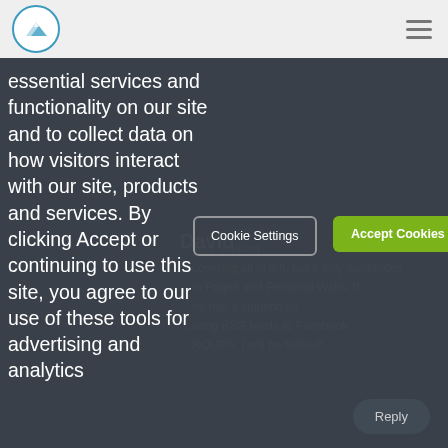Logo and navigation header
essential services and functionality on our site and to collect data on how visitors interact with our site, products and services. By clicking Accept or continuing to use this site, you agree to our use of these tools for advertising and analytics
David
...your seeking... ...covering all of it!!!, but it only automates ...to Pages and Personal Walls. If ...he has a solution for ...ating RSS feeds to Facebook ...ROUPS, I will be thrilled!
Cookie Settings
Accept Cookies
Reply